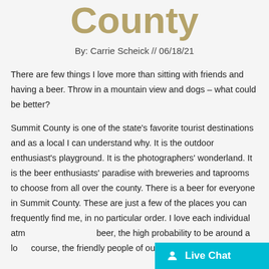County
By: Carrie Scheick // 06/18/21
There are few things I love more than sitting with friends and having a beer.  Throw in a mountain view and dogs – what could be better?
Summit County is one of the state's favorite tourist destinations and as a local I can understand why. It is the outdoor enthusiast's playground. It is the photographers' wonderland. It is the beer enthusiasts' paradise with breweries and taprooms to choose from all over the county. There is a beer for everyone in Summit County. These are just a few of the places you can frequently find me, in no particular order. I love each individual atm… beer, the high probability to be around a lo… course, the friendly people of our community.